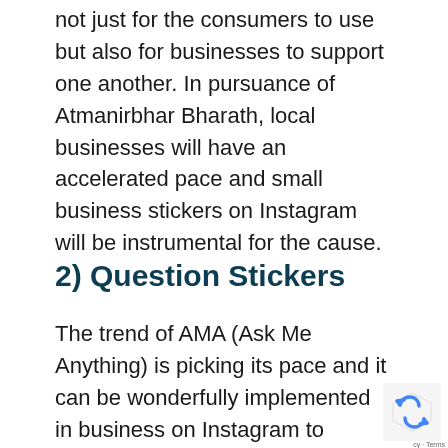not just for the consumers to use but also for businesses to support one another. In pursuance of Atmanirbhar Bharath, local businesses will have an accelerated pace and small business stickers on Instagram will be instrumental for the cause.
2) Question Stickers
The trend of AMA (Ask Me Anything) is picking its pace and it can be wonderfully implemented in business on Instagram to increase engagement.